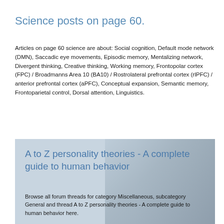Science posts on page 60.
Articles on page 60 science are about: Social cognition, Default mode network (DMN), Saccadic eye movements, Episodic memory, Mentalizing network, Divergent thinking, Creative thinking, Working memory, Frontopolar cortex (FPC) / Broadmanns Area 10 (BA10) / Rostrolateral prefrontal cortex (rlPFC) / anterior prefrontal cortex (aPFC), Conceptual expansion, Semantic memory, Frontoparietal control, Dorsal attention, Linguistics.
[Figure (photo): Background photo of a person's face partially visible, used as card background image]
A to Z personality theories - A complete guide to human behavior
Browse all forum threads for category Miscellaneous, subcategory General and thread A to Z personality theories - A complete guide to human behavior here.